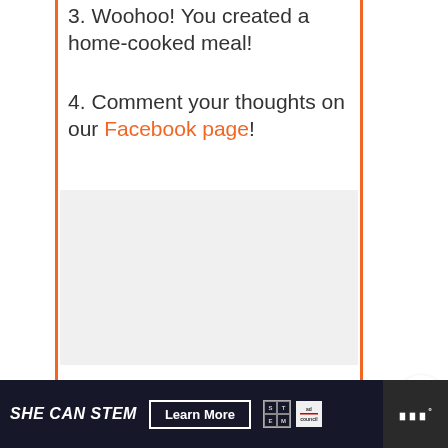3. Woohoo! You created a home-cooked meal!
4. Comment your thoughts on our Facebook page!
[Figure (photo): Light gray image placeholder area]
[Figure (infographic): Heart like button widget (white circle with heart icon)]
[Figure (infographic): Share widget: teal pill with number 4 and share icon]
[Figure (infographic): What's Next promo card: image of chicken dish, text 'WHAT'S NEXT → 22 BEST Chicken...']
SHE CAN STEM  Learn More  [STEM logo] [ad council logo]